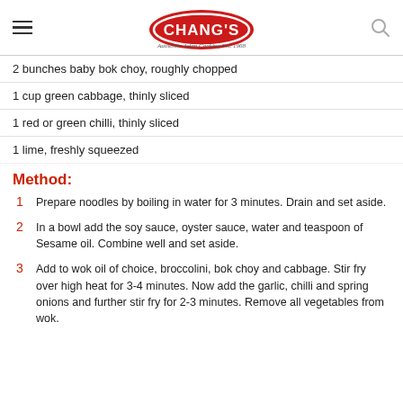Chang's — Authentic Asian Cooking Est. 1968
2 bunches baby bok choy, roughly chopped
1 cup green cabbage, thinly sliced
1 red or green chilli, thinly sliced
1 lime, freshly squeezed
Method:
1  Prepare noodles by boiling in water for 3 minutes. Drain and set aside.
2  In a bowl add the soy sauce, oyster sauce, water and teaspoon of Sesame oil. Combine well and set aside.
3  Add to wok oil of choice, broccolini, bok choy and cabbage. Stir fry over high heat for 3-4 minutes. Now add the garlic, chilli and spring onions and further stir fry for 2-3 minutes. Remove all vegetables from wok.